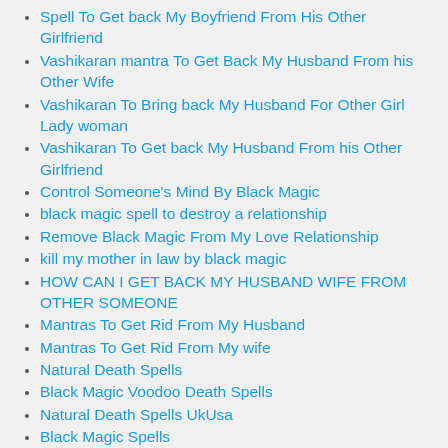Spell To Get back My Boyfriend From His Other Girlfriend
Vashikaran mantra To Get Back My Husband From his Other Wife
Vashikaran To Bring back My Husband For Other Girl Lady woman
Vashikaran To Get back My Husband From his Other Girlfriend
Control Someone's Mind By Black Magic
black magic spell to destroy a relationship
Remove Black Magic From My Love Relationship
kill my mother in law by black magic
HOW CAN I GET BACK MY HUSBAND WIFE FROM OTHER SOMEONE
Mantras To Get Rid From My Husband
Mantras To Get Rid From My wife
Natural Death Spells
Black Magic Voodoo Death Spells
Natural Death Spells UkUsa
Black Magic Spells
Death spell caster
black magic spells to take revenge from the enemy?
free death spells that work fast